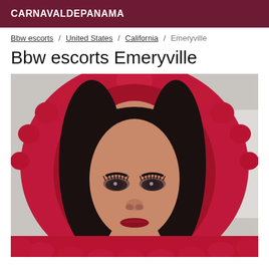CARNAVALDEPANAMA
Bbw escorts / United States / California / Emeryville
Bbw escorts Emeryville
[Figure (photo): Woman wearing a red/magenta fur-trimmed hood, dark hair, heavy eye makeup, close-up portrait photo]